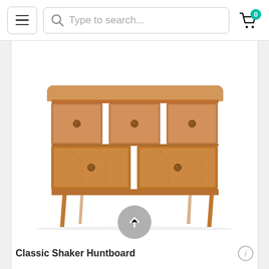Navigation bar with hamburger menu, search bar (Type to search...), and cart icon with badge 0
[Figure (photo): A classic Shaker-style huntboard/console table in cherry wood finish. The piece has five drawers: three smaller drawers on top row and two larger drawers on the bottom row, each with a round wooden knob. The table stands on four slender tapered legs.]
[Figure (other): A circular grey scroll-to-top button with an upward-pointing white arrow in the center.]
Classic Shaker Huntboard